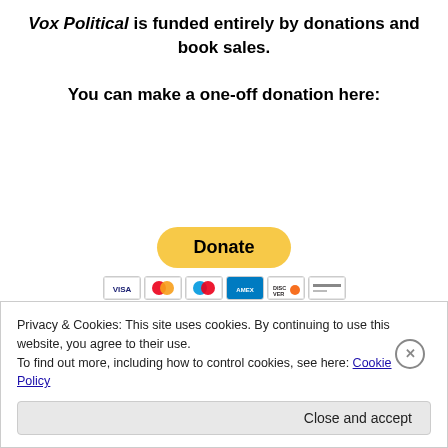Vox Political is funded entirely by donations and book sales.
You can make a one-off donation here:
[Figure (other): PayPal Donate button with credit card icons (Visa, Mastercard, Maestro, Amex, Discover, credit card)]
Alternatively, you can buy the first Vox Political book,
Privacy & Cookies: This site uses cookies. By continuing to use this website, you agree to their use.
To find out more, including how to control cookies, see here: Cookie Policy
Close and accept